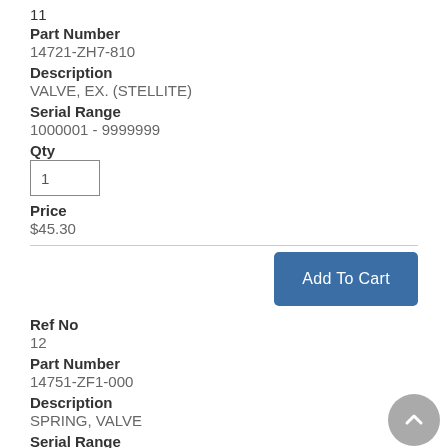11
Part Number
14721-ZH7-810
Description
VALVE, EX. (STELLITE)
Serial Range
1000001 - 9999999
Qty
1
Price
$45.30
Add To Cart
Ref No
12
Part Number
14751-ZF1-000
Description
SPRING, VALVE
Serial Range